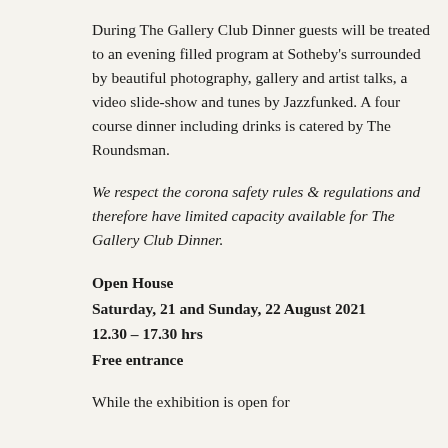During The Gallery Club Dinner guests will be treated to an evening filled program at Sotheby's surrounded by beautiful photography, gallery and artist talks, a video slide-show and tunes by Jazzfunked. A four course dinner including drinks is catered by The Roundsman.
We respect the corona safety rules & regulations and therefore have limited capacity available for The Gallery Club Dinner.
Open House
Saturday, 21 and Sunday, 22 August 2021
12.30 – 17.30 hrs
Free entrance
While the exhibition is open for